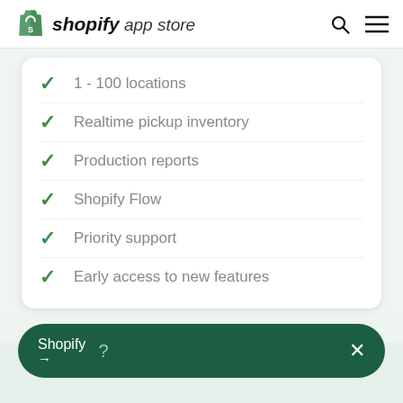shopify app store
1 - 100 locations
Realtime pickup inventory
Production reports
Shopify Flow
Priority support
Early access to new features
Shopify → ?  ×